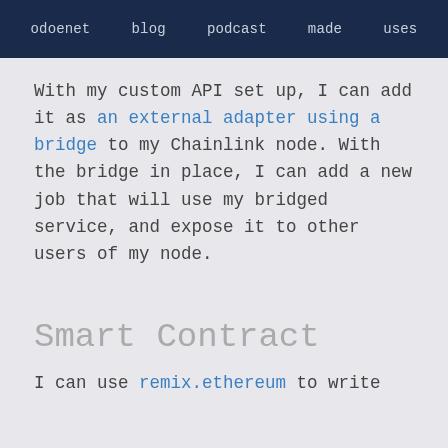odoenet  blog  podcast  made  uses
With my custom API set up, I can add it as an external adapter using a bridge to my Chainlink node. With the bridge in place, I can add a new job that will use my bridged service, and expose it to other users of my node.
Smart Contract
I can use remix.ethereum to write